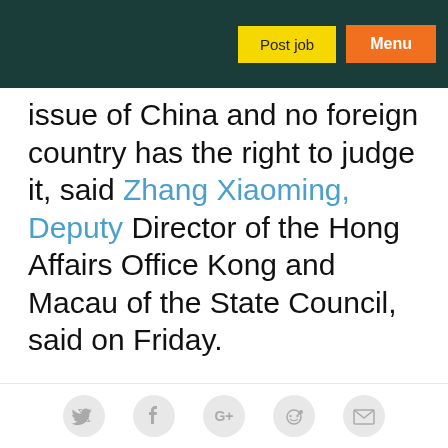Post job | Menu
issue of China and no foreign country has the right to judge it, said Zhang Xiaoming, Deputy Director of the Hong Affairs Office Kong and Macau of the State Council, said on Friday.
Zhang said at a press conference a day after the 13th National Congress of the People adopted the decision during its fourth annual session that closed on Thursday. It was followed by the conviction of the state spokesman price of the US Department of State. UU, who said at a
[Figure (other): Social media sharing icons: Twitter, Facebook, Google+, Reddit, email]